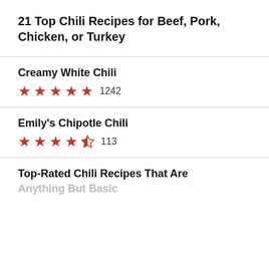21 Top Chili Recipes for Beef, Pork, Chicken, or Turkey
Creamy White Chili
★★★★★ 1242
Emily's Chipotle Chili
★★★★½ 113
Top-Rated Chili Recipes That Are Anything But Basic